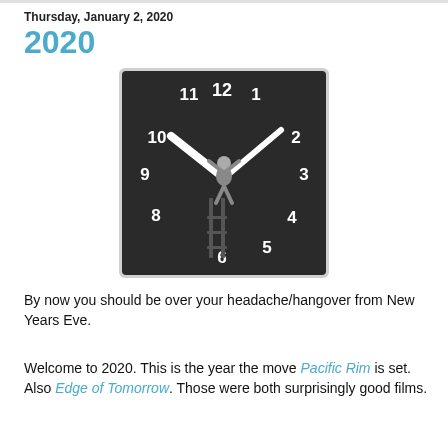Thursday, January 2, 2020
2020
[Figure (photo): Black and white vintage photo of a man on a ladder adjusting large clock hands on a giant wall clock face, with numbers 2 through 12 visible.]
By now you should be over your headache/hangover from New Years Eve.
Welcome to 2020. This is the year the move Pacific Rim is set. Also Edge of Tomorrow. Those were both surprisingly good films.